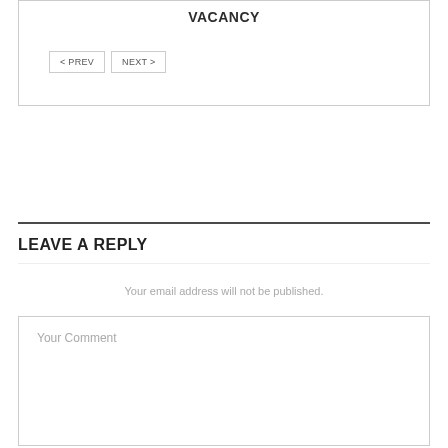VACANCY
< PREV   NEXT >
LEAVE A REPLY
Your email address will not be published.
Your Comment